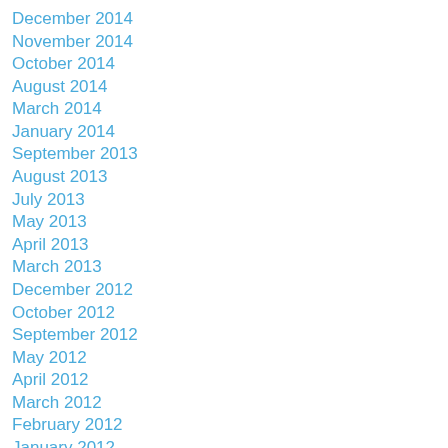December 2014
November 2014
October 2014
August 2014
March 2014
January 2014
September 2013
August 2013
July 2013
May 2013
April 2013
March 2013
December 2012
October 2012
September 2012
May 2012
April 2012
March 2012
February 2012
January 2012
December 2011